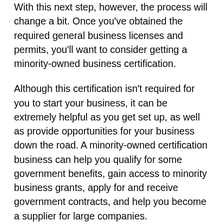With this next step, however, the process will change a bit. Once you've obtained the required general business licenses and permits, you'll want to consider getting a minority-owned business certification.
Although this certification isn't required for you to start your business, it can be extremely helpful as you get set up, as well as provide opportunities for your business down the road. A minority-owned certification business can help you qualify for some government benefits, gain access to minority business grants, apply for and receive government contracts, and help you become a supplier for large companies.
So, how do you legally become a minority-owned